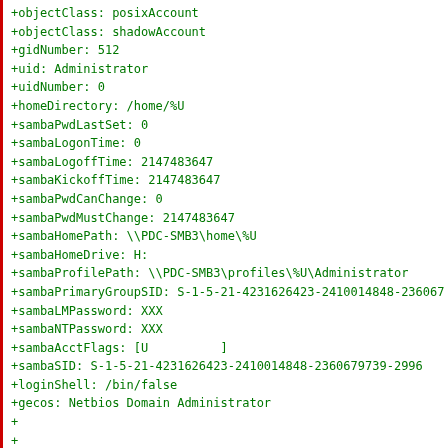+objectClass: posixAccount
+objectClass: shadowAccount
+gidNumber: 512
+uid: Administrator
+uidNumber: 0
+homeDirectory: /home/%U
+sambaPwdLastSet: 0
+sambaLogonTime: 0
+sambaLogoffTime: 2147483647
+sambaKickoffTime: 2147483647
+sambaPwdCanChange: 0
+sambaPwdMustChange: 2147483647
+sambaHomePath: \\PDC-SMB3\home\%U
+sambaHomeDrive: H:
+sambaProfilePath: \\PDC-SMB3\profiles\%U\Administrator
+sambaPrimaryGroupSID: S-1-5-21-4231626423-2410014848-236067
+sambaLMPassword: XXX
+sambaNTPassword: XXX
+sambaAcctFlags: [U          ]
+sambaSID: S-1-5-21-4231626423-2410014848-2360679739-2996
+loginShell: /bin/false
+gecos: Netbios Domain Administrator
+
+
diff --git a/testdata/samba3/wins.dat b/testdata/samba3/wins...
new file mode 100644 (file)
index 0000000..f636b3d
--- /dev/null
+++ b/testdata/samba3/wins.dat
@@ -0,0 +1,23 @@
+VERSION 1 0